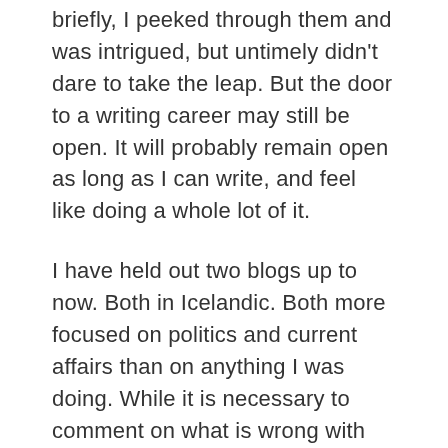briefly, I peeked through them and was intrigued, but untimely didn't dare to take the leap. But the door to a writing career may still be open. It will probably remain open as long as I can write, and feel like doing a whole lot of it.
I have held out two blogs up to now. Both in Icelandic. Both more focused on politics and current affairs than on anything I was doing. While it is necessary to comment on what is wrong with the world, and I did have a lot of readers at one point, I feel that I must communicate what's in the heart. Head is full of ideas, but they all come from the heart to begin with. This blog will be rough, unpolished,